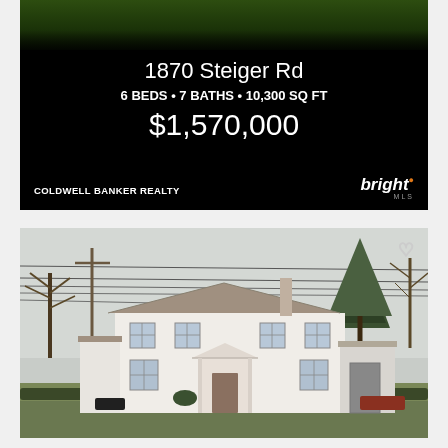[Figure (photo): Top portion of house listing card showing a dark/night aerial photo of greenery at top, with black background below containing property details]
1870 Steiger Rd
6 BEDS • 7 BATHS • 10,300 SQ FT
$1,570,000
COLDWELL BANKER REALTY
[Figure (photo): Exterior photo of a large white two-story colonial-style house with gray roof, multiple windows, a portico entrance, attached garage or wing on the right, surrounded by bare trees in winter/early spring, power lines visible overhead, small evergreen tree to the right, hedges along the front]
[Figure (logo): Bright MLS logo — italic white 'bright' with orange dot superscript and 'MLS' text below]